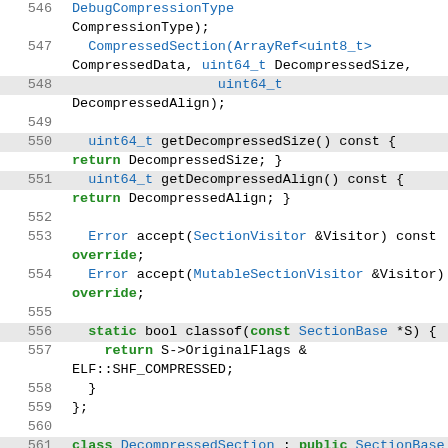[Figure (screenshot): Source code viewer showing C++ code lines 546-569 with line numbers, green gutter bars, and syntax highlighting. Code shows CompressedSection and DecompressedSection class definitions with methods including getDecompressedSize(), getDecompressedAlign(), accept(), classof(), and constructor.]